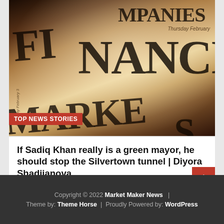[Figure (photo): Close-up photo of Financial Markets newspaper pages fanned open, showing large bold serif text 'FINANCIAL MARKETS' and 'COMPANIES' with 'Thursday February' visible. Warm brown/beige tones. Red badge overlay reads 'TOP NEWS STORIES'.]
If Sadiq Khan really is a green mayor, he should stop the Silvertown tunnel | Diyora Shadijanova
September 1, 2022 /
Copyright © 2022 Market Maker News  |  Theme by: Theme Horse  |  Proudly Powered by: WordPress